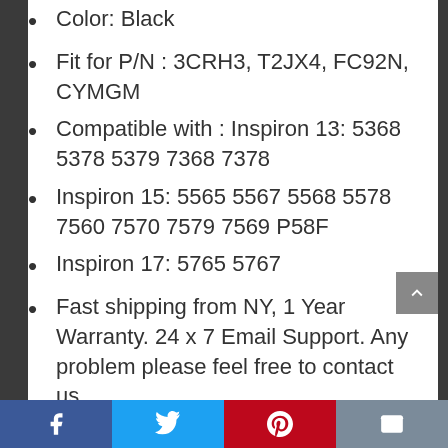Color: Black
Fit for P/N : 3CRH3, T2JX4, FC92N, CYMGM
Compatible with : Inspiron 13: 5368 5378 5379 7368 7378
Inspiron 15: 5565 5567 5568 5578 7560 7570 7579 7569 P58F
Inspiron 17: 5765 5767
Fast shipping from NY, 1 Year Warranty. 24 x 7 Email Support. Any problem please feel free to contact us.
AN·GWEL have registered a U.S.
Facebook | Twitter | Pinterest | Email